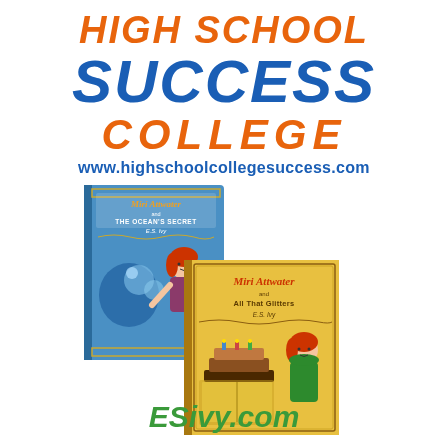[Figure (logo): High School Success College logo with text 'HIGH SCHOOL SUCCESS COLLEGE' in orange and blue bold italic text, with website www.highschoolcollegesuccess.com below]
[Figure (illustration): Two illustrated book covers for 'Miri Attwater and The Ocean's Secret by E.S. Ivy' (blue cover with red-haired girl) and 'Miri Attwater and All That Glitters by E.S. Ivy' (gold cover with red-haired girl and graduation cake)]
ESivy.com